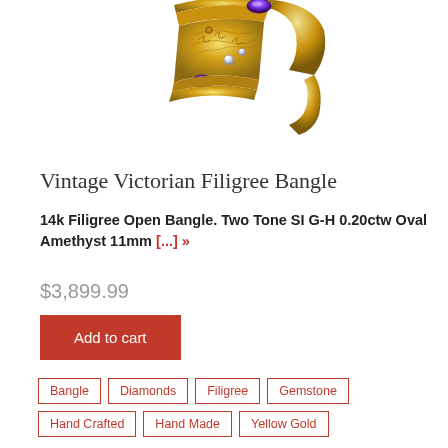[Figure (photo): Close-up photo of a gold vintage Victorian filigree open bangle bracelet with purple amethyst gemstones and small diamond accents, shown against a white background]
Vintage Victorian Filigree Bangle
14k Filigree Open Bangle. Two Tone SI G-H 0.20ctw Oval Amethyst 11mm [...] »
$3,899.99
Add to cart
Bangle
Diamonds
Filigree
Gemstone
Hand Crafted
Hand Made
Yellow Gold